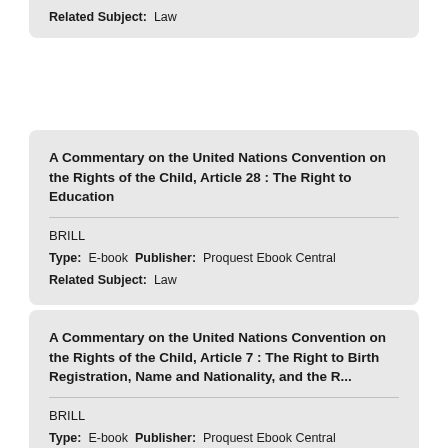Related Subject:  Law
A Commentary on the United Nations Convention on the Rights of the Child, Article 28 : The Right to Education
BRILL
Type:  E-book  Publisher:  Proquest Ebook Central
Related Subject:  Law
A Commentary on the United Nations Convention on the Rights of the Child, Article 7 : The Right to Birth Registration, Name and Nationality, and the R...
BRILL
Type:  E-book  Publisher:  Proquest Ebook Central
Related Subject:  Law